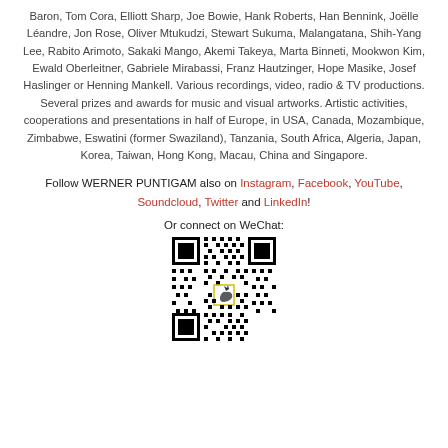Baron, Tom Cora, Elliott Sharp, Joe Bowie, Hank Roberts, Han Bennink, Joëlle Léandre, Jon Rose, Oliver Mtukudzi, Stewart Sukuma, Malangatana, Shih-Yang Lee, Rabito Arimoto, Sakaki Mango, Akemi Takeya, Marta Binneti, Mookwon Kim, Ewald Oberleitner, Gabriele Mirabassi, Franz Hautzinger, Hope Masike, Josef Haslinger or Henning Mankell. Various recordings, video, radio & TV productions. Several prizes and awards for music and visual artworks. Artistic activities, cooperations and presentations in half of Europe, in USA, Canada, Mozambique, Zimbabwe, Eswatini (former Swaziland), Tanzania, South Africa, Algeria, Japan, Korea, Taiwan, Hong Kong, Macau, China and Singapore.
Follow WERNER PUNTIGAM also on Instagram, Facebook, YouTube, Soundcloud, Twitter and LinkedIn!
Or connect on WeChat:
[Figure (other): QR code for WeChat with a small wolf/animal logo in the center]